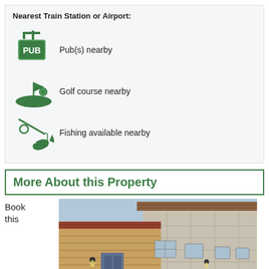Nearest Train Station or Airport:
Pub(s) nearby
Golf course nearby
Fishing available nearby
More About this Property
Book this
[Figure (photo): Exterior photo of a stone and wood-clad cottage property with a tiled roof and blue front door]